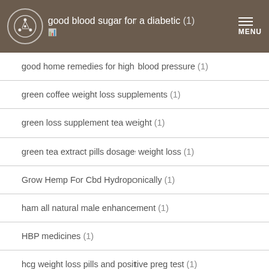good blood sugar for a diabetic (1)
good home remedies for high blood pressure (1)
green coffee weight loss supplements (1)
green loss supplement tea weight (1)
green tea extract pills dosage weight loss (1)
Grow Hemp For Cbd Hydroponically (1)
ham all natural male enhancement (1)
HBP medicines (1)
hcg weight loss pills and positive preg test (1)
help blood sugar go down pills (1)